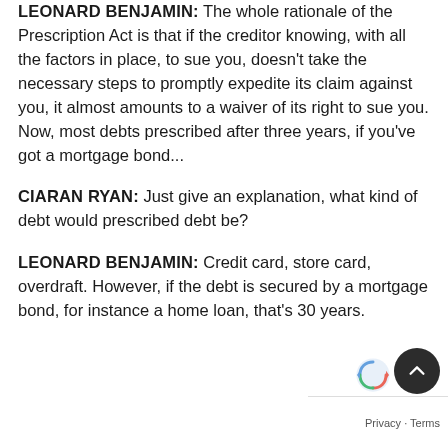LEONARD BENJAMIN: The whole rationale of the Prescription Act is that if the creditor knowing, with all the factors in place, to sue you, doesn't take the necessary steps to promptly expedite its claim against you, it almost amounts to a waiver of its right to sue you. Now, most debts prescribed after three years, if you've got a mortgage bond...
CIARAN RYAN: Just give an explanation, what kind of debt would prescribed debt be?
LEONARD BENJAMIN: Credit card, store card, overdraft. However, if the debt is secured by a mortgage bond, for instance a home loan, that's 30 years.